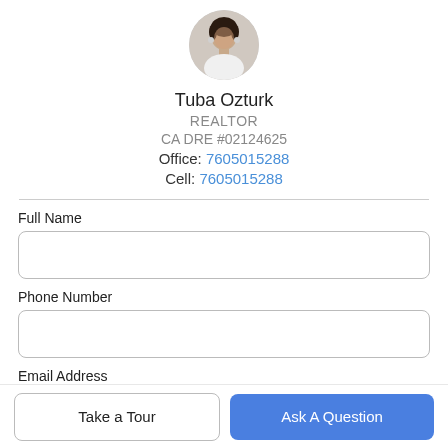[Figure (photo): Circular profile photo of Tuba Ozturk, a woman with dark hair]
Tuba Ozturk
REALTOR
CA DRE #02124625
Office: 7605015288
Cell: 7605015288
Full Name
Phone Number
Email Address
Take a Tour
Ask A Question